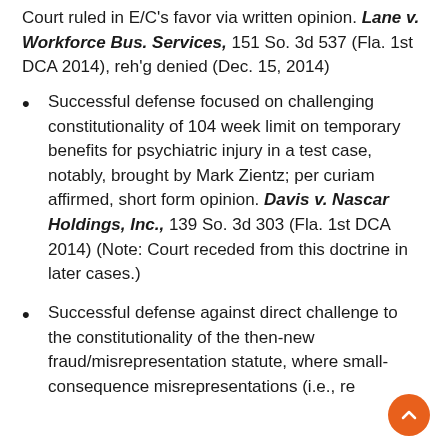Court ruled in E/C's favor via written opinion. Lane v. Workforce Bus. Services, 151 So. 3d 537 (Fla. 1st DCA 2014), reh'g denied (Dec. 15, 2014)
Successful defense focused on challenging constitutionality of 104 week limit on temporary benefits for psychiatric injury in a test case, notably, brought by Mark Zientz; per curiam affirmed, short form opinion. Davis v. Nascar Holdings, Inc., 139 So. 3d 303 (Fla. 1st DCA 2014) (Note: Court receded from this doctrine in later cases.)
Successful defense against direct challenge to the constitutionality of the then-new fraud/misrepresentation statute, where small-consequence misrepresentations (i.e., re